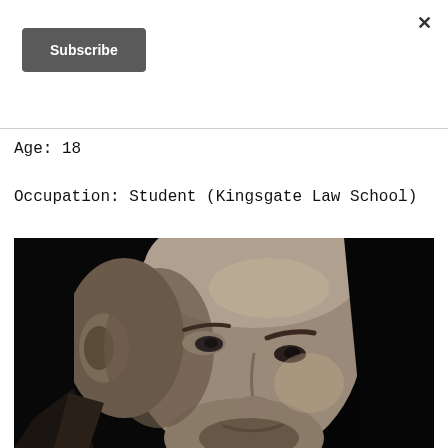×
Subscribe
Age: 18
Occupation: Student (Kingsgate Law School)
[Figure (photo): Black and white close-up portrait of a young person with a shaved/bald head, looking slightly to the side, dramatic dark background lighting]